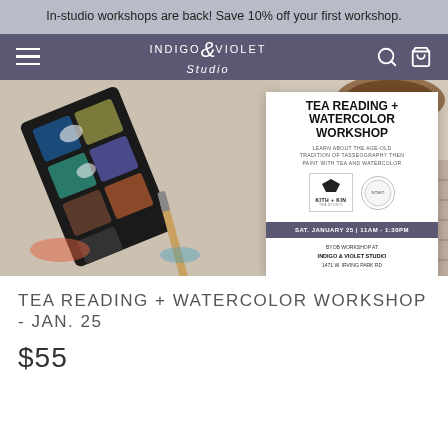In-studio workshops are back! Save 10% off your first workshop.
[Figure (screenshot): Indigo & Violet Studio website header navigation bar with hamburger menu, logo, search and cart icons on a dark purple background]
[Figure (photo): Hero image showing watercolor paint supplies and brushes on a table, with an event card overlay for Tea Reading + Watercolor Workshop on January 25, 11AM-1:30PM at Indigo & Violet Studio, 1471 W. Irving Park Rd, presented by Kith + Kin. BYOB workshop.]
TEA READING + WATERCOLOR WORKSHOP - JAN. 25
$55